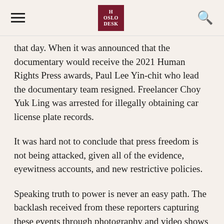The Oslo Desk
that day. When it was announced that the documentary would receive the 2021 Human Rights Press awards, Paul Lee Yin-chit who lead the documentary team resigned. Freelancer Choy Yuk Ling was arrested for illegally obtaining car license plate records.
It was hard not to conclude that press freedom is not being attacked, given all of the evidence, eyewitness accounts, and new restrictive policies.
Speaking truth to power is never an easy path. The backlash received from these reporters capturing these events through photography and video shows the power of documentary. Each of these documentaries complemented and reinforced the